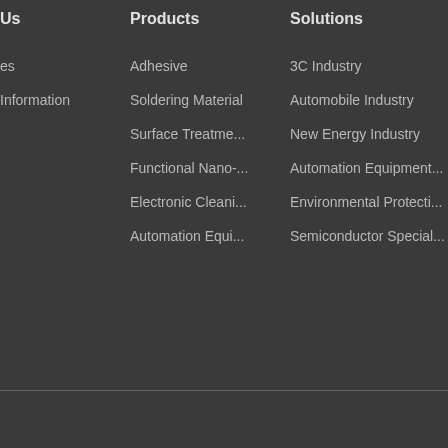Us
Products
Solutions
es
Information
Adhesive
Soldering Material
Surface Treatme...
Functional Nano-...
Electronic Cleani...
Automation Equi...
3C Industry
Automobile Industry
New Energy Industry
Automation Equipment...
Environmental Protecti...
Semiconductor Special...